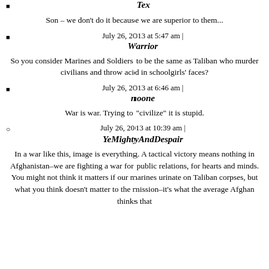Tex
Son – we don't do it because we are superior to them...
July 26, 2013 at 5:47 am | Warrior
So you consider Marines and Soldiers to be the same as Taliban who murder civilians and throw acid in schoolgirls' faces?
July 26, 2013 at 6:46 am | noone
War is war. Trying to "civilize" it is stupid.
July 26, 2013 at 10:39 am | YeMightyAndDespair
In a war like this, image is everything. A tactical victory means nothing in Afghanistan–we are fighting a war for public relations, for hearts and minds. You might not think it matters if our marines urinate on Taliban corpses, but what you think doesn't matter to the mission–it's what the average Afghan thinks that